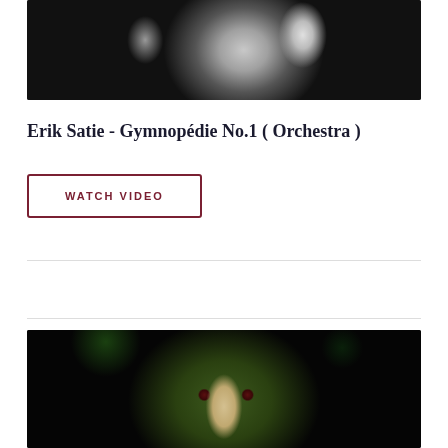[Figure (photo): Black and white photograph of Erik Satie, showing a person in formal attire against a dark background]
Erik Satie - Gymnopédie No.1 ( Orchestra )
WATCH VIDEO
[Figure (photo): Dark artistic image of a pelican or bird-like creature with reddish eyes against a dark green background]